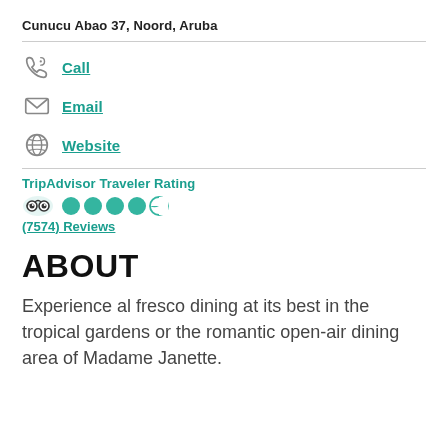Cunucu Abao 37, Noord, Aruba
Call
Email
Website
TripAdvisor Traveler Rating
(7574) Reviews
ABOUT
Experience al fresco dining at its best in the tropical gardens or the romantic open-air dining area of Madame Janette.